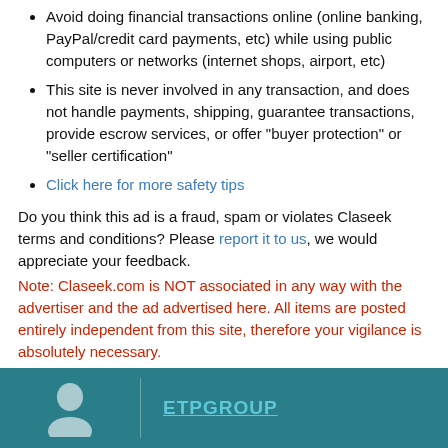Avoid doing financial transactions online (online banking, PayPal/credit card payments, etc) while using public computers or networks (internet shops, airport, etc)
This site is never involved in any transaction, and does not handle payments, shipping, guarantee transactions, provide escrow services, or offer "buyer protection" or "seller certification"
Click here for more safety tips
Do you think this ad is a fraud, spam or violates Claseek terms and conditions? Please report it to us, we would appreciate your feedback.
Note: Claseek.com is NOT associated in any way with the advertiser and the ad advertised here. All items are posted entirely independent from this site, therefore your vigilance is absolutely necessary.
ETPGROUP